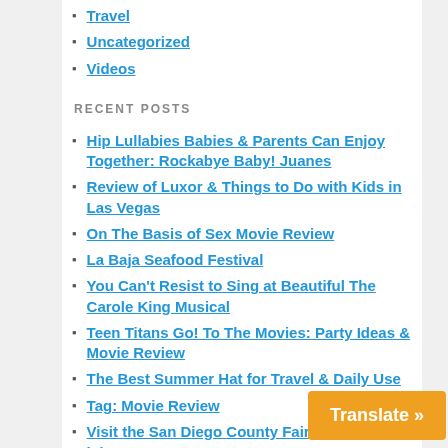Travel
Uncategorized
Videos
RECENT POSTS
Hip Lullabies Babies & Parents Can Enjoy Together: Rockabye Baby! Juanes
Review of Luxor & Things to Do with Kids in Las Vegas
On The Basis of Sex Movie Review
La Baja Seafood Festival
You Can't Resist to Sing at Beautiful The Carole King Musical
Teen Titans Go! To The Movies: Party Ideas & Movie Review
The Best Summer Hat for Travel & Daily Use
Tag: Movie Review
Visit the San Diego County Fair: How Sweet It Is!
Lorena Isabell Concert – Join Us & Be Inspired By Her, Like I Am
How To Handle Life's Every Day Issues &…